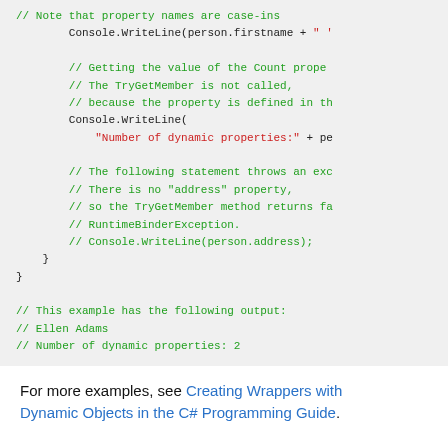[Figure (screenshot): Code block showing C# code with green comments and red string literal, on a light gray background. Content includes comments about case-insensitive property names, Count property, TryGetMember, RuntimeBinderException, and output comments.]
For more examples, see Creating Wrappers with Dynamic Objects in the C# Programming Guide.